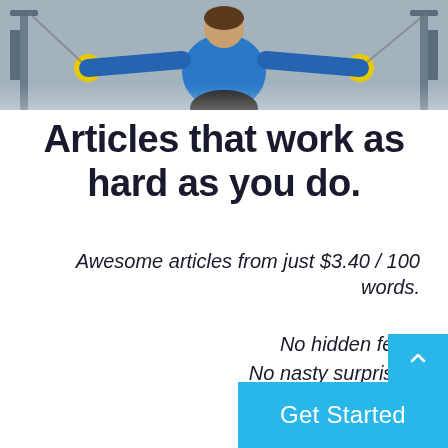[Figure (photo): Person in blue shirt working out with cable machine equipment in a gym, yellow cable handles visible on both sides]
Articles that work as hard as you do.
Awesome articles from just $3.40 / 100 words.
No hidden fees.
No nasty surprises.
Just great content.
Get Started